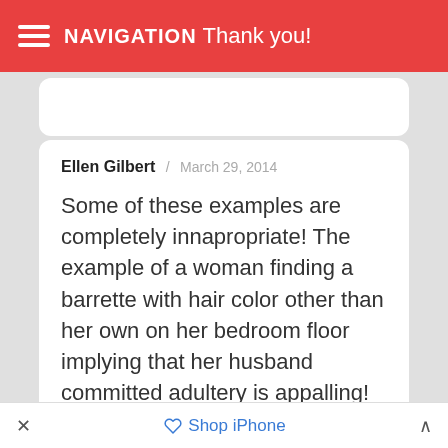NAVIGATION  Thank you!
Ellen Gilbert / March 29, 2014
Some of these examples are completely innapropriate! The example of a woman finding a barrette with hair color other than her own on her bedroom floor implying that her husband committed adultery is appalling! In addition, the poor grammar and sentence structure makes me fear for
× Shop iPhone ^